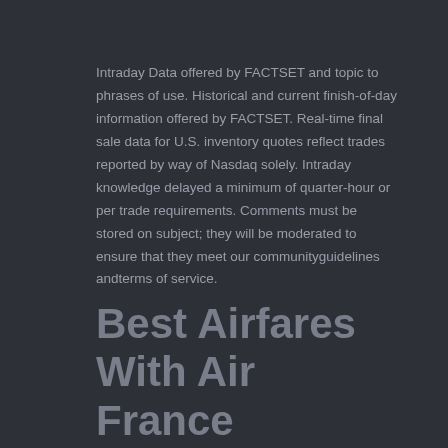Intraday Data offered by FACTSET and topic to phrases of use. Historical and current finish-of-day information offered by FACTSET. Real-time final sale data for U.S. inventory quotes reflect trades reported by way of Nasdaq solely. Intraday knowledge delayed a minimum of quarter-hour or per trade requirements. Comments must be stored on subject; they will be moderated to ensure that they meet our communityguidelines andterms of service.
Best Airfares With Air France